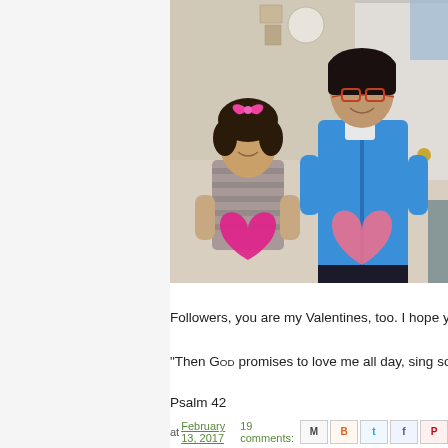[Figure (photo): Two girls holding pink paper hearts. The smaller girl on the left wears a pink bow in her hair and a striped shirt, holding a hot-pink heart. The taller girl on the right wears a blue fleece jacket and holds a large pink heart. They are standing in a kitchen area.]
Followers, you are my Valentines, too. I hope yo
“Then God promises to love me all day, sing songs all through t
Psalm 42
at February 13, 2017   19 comments: